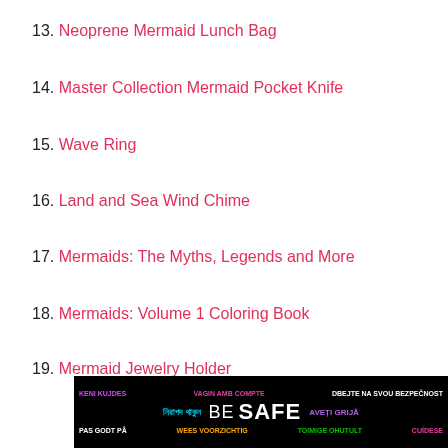13. Neoprene Mermaid Lunch Bag
14. Master Collection Mermaid Pocket Knife
15. Wave Ring
16. Land and Sea Wind Chime
17. Mermaids: The Myths, Legends and More
18. Mermaids: Volume 1 Coloring Book
19. Mermaid Jewelry Holder
[Figure (infographic): BE SAFE multilingual safety banner with text in multiple languages and colors on black background]